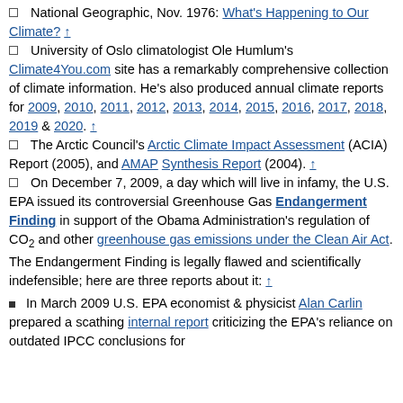National Geographic, Nov. 1976: What's Happening to Our Climate? ↑
University of Oslo climatologist Ole Humlum's Climate4You.com site has a remarkably comprehensive collection of climate information. He's also produced annual climate reports for 2009, 2010, 2011, 2012, 2013, 2014, 2015, 2016, 2017, 2018, 2019 & 2020. ↑
The Arctic Council's Arctic Climate Impact Assessment (ACIA) Report (2005), and AMAP Synthesis Report (2004). ↑
On December 7, 2009, a day which will live in infamy, the U.S. EPA issued its controversial Greenhouse Gas Endangerment Finding in support of the Obama Administration's regulation of CO2 and other greenhouse gas emissions under the Clean Air Act. The Endangerment Finding is legally flawed and scientifically indefensible; here are three reports about it: ↑
In March 2009 U.S. EPA economist & physicist Alan Carlin prepared a scathing internal report criticizing the EPA's reliance on outdated IPCC conclusions for